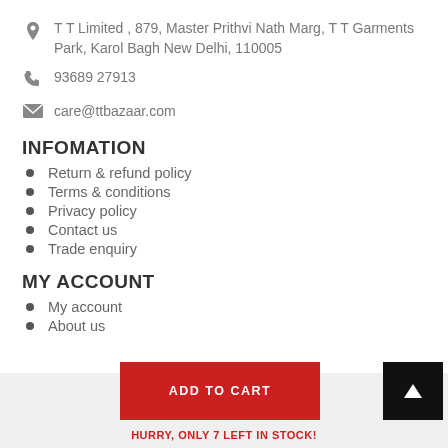T T Limited , 879, Master Prithvi Nath Marg, T T Garments Park, Karol Bagh New Delhi, 110005
93689 27913
care@ttbazaar.com
INFOMATION
Return & refund policy
Terms & conditions
Privacy policy
Contact us
Trade enquiry
MY ACCOUNT
My account
About us
ADD TO CART
HURRY, ONLY 7 LEFT IN STOCK!